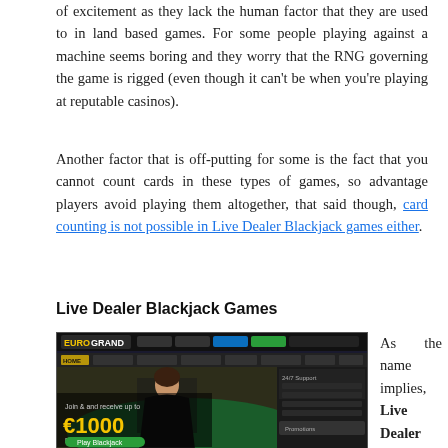of excitement as they lack the human factor that they are used to in land based games. For some people playing against a machine seems boring and they worry that the RNG governing the game is rigged (even though it can't be when you're playing at reputable casinos).
Another factor that is off-putting for some is the fact that you cannot count cards in these types of games, so advantage players avoid playing them altogether, that said though, card counting is not possible in Live Dealer Blackjack games either.
Live Dealer Blackjack Games
[Figure (screenshot): Screenshot of EuroGrand casino website showing Live Casino section with €1000 bonus offer for new players and a female dealer at a blackjack table]
As the name implies, Live Dealer Blackjack